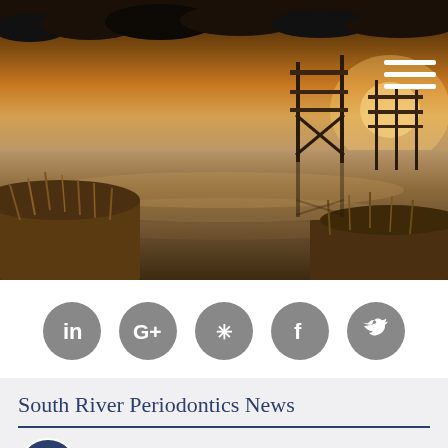[Figure (photo): Scenic waterway at sunset with marsh grasses in foreground, wooden dock/pier structure reflecting on calm water, trees silhouetted against golden sky. Hamburger menu icon in top right corner.]
[Figure (infographic): Row of 5 gray circular social media icons: LinkedIn, Google+, Yelp, Facebook, Twitter]
South River Periodontics News
[Figure (illustration): Accessibility icon: circular badge with white figure with arms outstretched]
21401 Periodontist | Periodontal